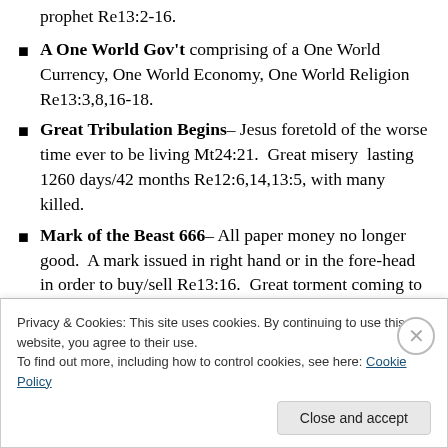A One World Gov't comprising of a One World Currency, One World Economy, One World Religion Re13:3,8,16-18.
Great Tribulation Begins– Jesus foretold of the worse time ever to be living Mt24:21. Great misery lasting 1260 days/42 months Re12:6,14,13:5, with many killed.
Mark of the Beast 666– All paper money no longer good. A mark issued in right hand or in the fore-head in order to buy/sell Re13:16. Great torment coming to
Privacy & Cookies: This site uses cookies. By continuing to use this website, you agree to their use.
To find out more, including how to control cookies, see here: Cookie Policy
Close and accept